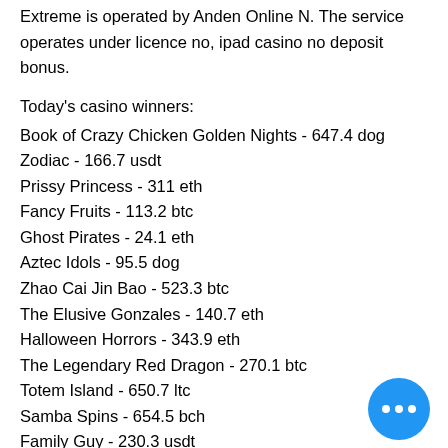Extreme is operated by Anden Online N. The service operates under licence no, ipad casino no deposit bonus.
Today's casino winners:
Book of Crazy Chicken Golden Nights - 647.4 dog
Zodiac - 166.7 usdt
Prissy Princess - 311 eth
Fancy Fruits - 113.2 btc
Ghost Pirates - 24.1 eth
Aztec Idols - 95.5 dog
Zhao Cai Jin Bao - 523.3 btc
The Elusive Gonzales - 140.7 eth
Halloween Horrors - 343.9 eth
The Legendary Red Dragon - 270.1 btc
Totem Island - 650.7 ltc
Samba Spins - 654.5 bch
Family Guy - 230.3 usdt
Joker Millions - 243.1 dog
Pearls Fortune - 639.4 bch